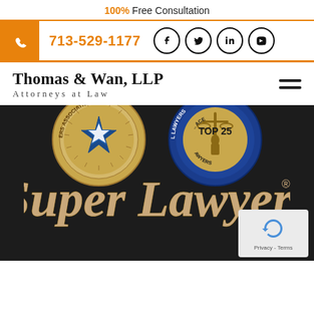100% Free Consultation
713-529-1177
Thomas & Wan, LLP
Attorneys at Law
[Figure (logo): Texas Trial Association seal badge and Top 25 Trial Lawyers medal badge on dark background]
[Figure (logo): Super Lawyers logo in gold/tan serif font on dark background]
[Figure (other): Google reCAPTCHA widget with Privacy - Terms text]